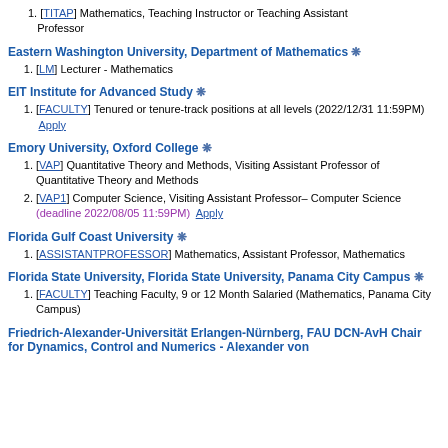[TITAP] Mathematics, Teaching Instructor or Teaching Assistant Professor
Eastern Washington University, Department of Mathematics
[LM] Lecturer - Mathematics
EIT Institute for Advanced Study
[FACULTY] Tenured or tenure-track positions at all levels (2022/12/31 11:59PM) Apply
Emory University, Oxford College
[VAP] Quantitative Theory and Methods, Visiting Assistant Professor of Quantitative Theory and Methods
[VAP1] Computer Science, Visiting Assistant Professor– Computer Science (deadline 2022/08/05 11:59PM) Apply
Florida Gulf Coast University
[ASSISTANTPROFESSOR] Mathematics, Assistant Professor, Mathematics
Florida State University, Florida State University, Panama City Campus
[FACULTY] Teaching Faculty, 9 or 12 Month Salaried (Mathematics, Panama City Campus)
Friedrich-Alexander-Universität Erlangen-Nürnberg, FAU DCN-AvH Chair for Dynamics, Control and Numerics - Alexander von